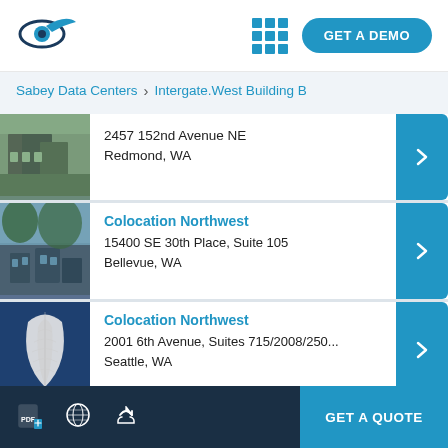[Figure (logo): Eye/surveillance logo icon in dark teal]
GET A DEMO
Sabey Data Centers > Intergate.West Building B
2457 152nd Avenue NE
Redmond, WA
Colocation Northwest
15400 SE 30th Place, Suite 105
Bellevue, WA
Colocation Northwest
2001 6th Avenue, Suites 715/2008/250...
Seattle, WA
New York Internet
3101 Western Avenue ...
GET A QUOTE